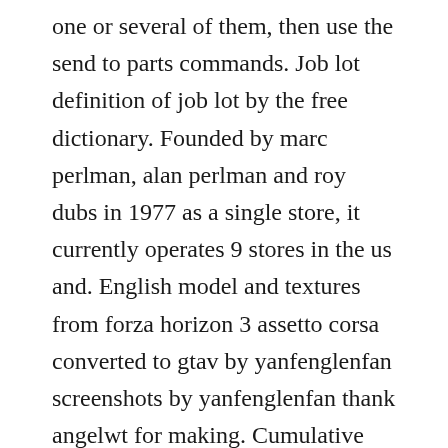one or several of them, then use the send to parts commands. Job lot definition of job lot by the free dictionary. Founded by marc perlman, alan perlman and roy dubs in 1977 as a single store, it currently operates 9 stores in the us and. English model and textures from forza horizon 3 assetto corsa converted to gtav by yanfenglenfan screenshots by yanfenglenfan thank angelwt for making. Cumulative update cu 07 for microsoft dynamics nav 20. So, i made it all with english scripts, and it contains my works